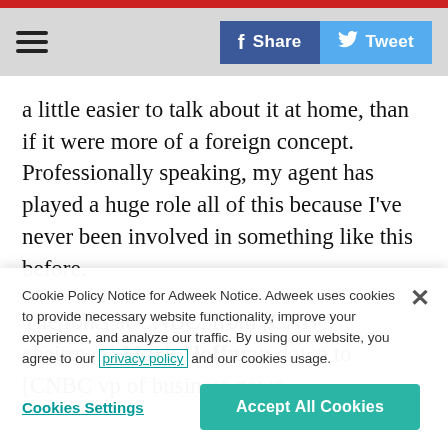Navigation bar with hamburger menu, Share button and Tweet button
a little easier to talk about it at home, than if it were more of a foreign concept. Professionally speaking, my agent has played a huge role all of this because I've never been involved in something like this before.
The folks at CNBC, from [CNBC chairman] Mark Hoffman down to [CNBC vp of business news...
Cookie Policy Notice for Adweek Notice. Adweek uses cookies to provide necessary website functionality, improve your experience, and analyze our traffic. By using our website, you agree to our privacy policy and our cookies usage.
Cookies Settings
Accept All Cookies